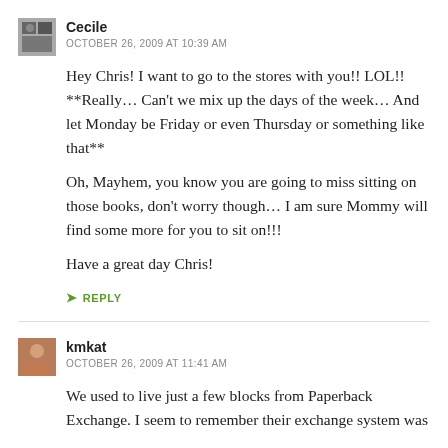Cecile
OCTOBER 26, 2009 AT 10:39 AM
Hey Chris! I want to go to the stores with you!! LOL!! **Really… Can't we mix up the days of the week… And let Monday be Friday or even Thursday or something like that**

Oh, Mayhem, you know you are going to miss sitting on those books, don't worry though… I am sure Mommy will find some more for you to sit on!!!
Have a great day Chris!
↳ REPLY
kmkat
OCTOBER 26, 2009 AT 11:41 AM
We used to live just a few blocks from Paperback Exchange. I seem to remember their exchange system was…